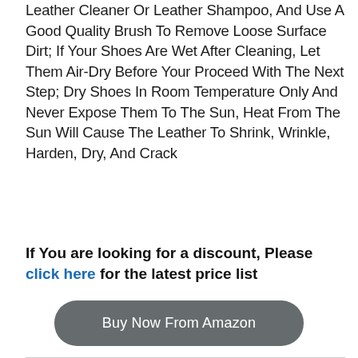Leather Cleaner Or Leather Shampoo, And Use A Good Quality Brush To Remove Loose Surface Dirt; If Your Shoes Are Wet After Cleaning, Let Them Air-Dry Before Your Proceed With The Next Step; Dry Shoes In Room Temperature Only And Never Expose Them To The Sun, Heat From The Sun Will Cause The Leather To Shrink, Wrinkle, Harden, Dry, And Crack
If You are looking for a discount, Please click here for the latest price list
[Figure (other): A rounded rectangular button with dark gray background containing white text 'Buy Now From Amazon']